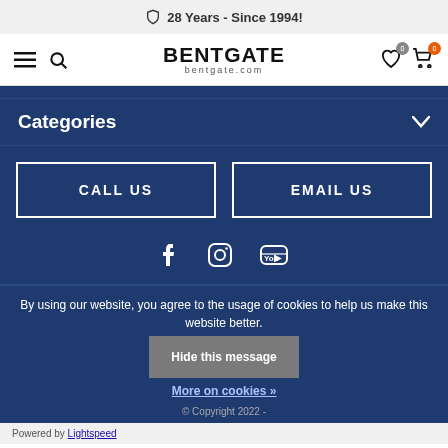28 Years - Since 1994!
[Figure (logo): Bentgate logo with navigation icons (hamburger menu, search, wishlist, cart)]
Categories
CALL US
EMAIL US
[Figure (other): Social media icons: Facebook, Instagram, YouTube]
By using our website, you agree to the usage of cookies to help us make this website better.
Hide this message
More on cookies »
© Copyright 2022 -
Powered by Lightspeed